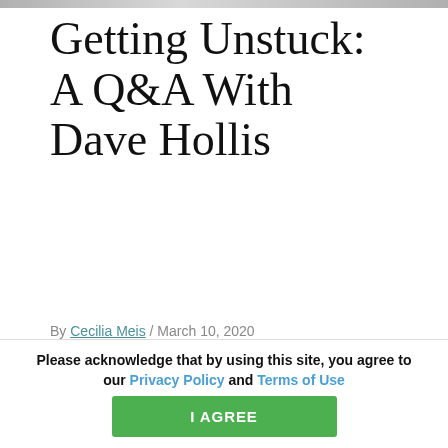[Figure (photo): Thin horizontal image strip at top of page]
Getting Unstuck: A Q&A With Dave Hollis
By Cecilia Meis / March 10, 2020
This website stores cookies on your computer. These cookies are used to improve your website experience and provide more personalized services to you, both on this website and through other media. To find out more about the cookies we use, see our Privacy Policy.
We won't track your information when you visit our site. But in order to comply with your
Please acknowledge that by using this site, you agree to our Privacy Policy and Terms of Use
I AGREE